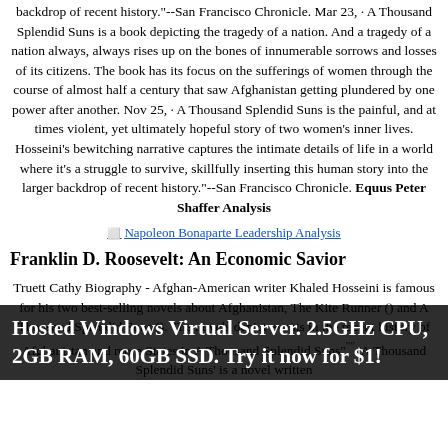backdrop of recent history."--San Francisco Chronicle. Mar 23, · A Thousand Splendid Suns is a book depicting the tragedy of a nation. And a tragedy of a nation always, always rises up on the bones of innumerable sorrows and losses of its citizens. The book has its focus on the sufferings of women through the course of almost half a century that saw Afghanistan getting plundered by one power after another. Nov 25, · A Thousand Splendid Suns is the painful, and at times violent, yet ultimately hopeful story of two women's inner lives. Hosseini's bewitching narrative captures the intimate details of life in a world where it's a struggle to survive, skillfully inserting this human story into the larger backdrop of recent history."--San Francisco Chronicle. Equus Peter Shaffer Analysis
[Figure (other): Broken image placeholder linking to Napoleon Bonaparte Leadership Analysis]
Franklin D. Roosevelt: An Economic Savior
Truett Cathy Biography - Afghan-American writer Khaled Hosseini is famous for his two best-selling novels about Afghanistan, The Kite Runner () and A Thousand Splendid Suns (). The novels depict events in the recent history of Afghanistan and more States in A Thousand Splendid Suns""" 'A Thousand Splendid Suns' is a novel written
Hosted Windows Virtual Server. 2.5GHz CPU, 2GB RAM, 60GB SSD. Try it now for $1!